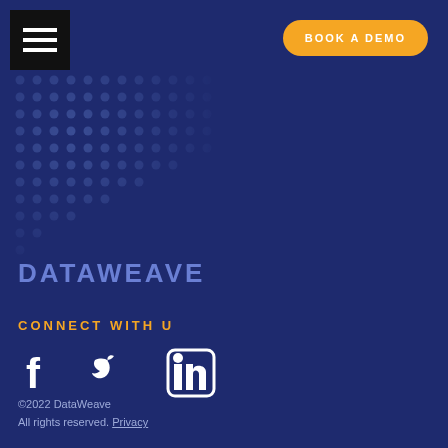[Figure (screenshot): Hamburger menu icon (three white horizontal lines) on black background, top-left corner]
BOOK A DEMO
[Figure (illustration): Blue dot/circle grid pattern on dark blue background]
DATAWEAVE
CONNECT WITH US
[Figure (illustration): Facebook, Twitter, and LinkedIn social media icons in white/blue on dark blue background]
You agree to our cookie policy by using this website. More Info
GOT IT
Would you like to switch to
United States
GO
©2022 DataWeave
All rights reserved. Privacy